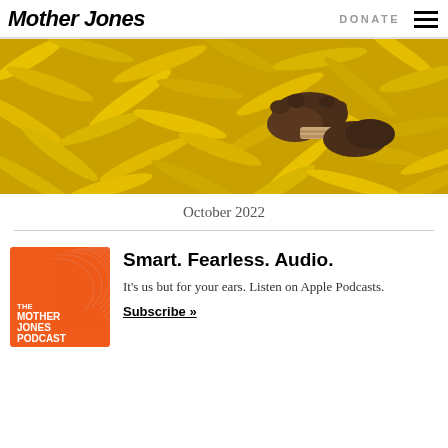Mother Jones  DONATE  ☰
[Figure (photo): Overhead photo of a large pile of yellow bananas with a person's bare feet visible standing among them]
October 2022
[Figure (logo): The Mother Jones Podcast orange square logo with abstract swirl design, text: THE MOTHER JONES PODCAST]
Smart. Fearless. Audio.
It's us but for your ears. Listen on Apple Podcasts.
Subscribe »